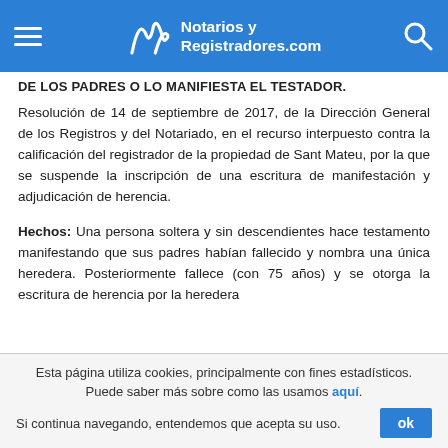Notarios y Registradores.com
DE LOS PADRES O LO MANIFIESTA EL TESTADOR
Resolución de 14 de septiembre de 2017, de la Dirección General de los Registros y del Notariado, en el recurso interpuesto contra la calificación del registrador de la propiedad de Sant Mateu, por la que se suspende la inscripción de una escritura de manifestación y adjudicación de herencia.
Hechos: Una persona soltera y sin descendientes hace testamento manifestando que sus padres habían fallecido y nombra una única heredera. Posteriormente fallece (con 75 años) y se otorga la escritura de herencia por la heredera
Esta página utiliza cookies, principalmente con fines estadísticos. Puede saber más sobre como las usamos aquí. Si continua navegando, entendemos que acepta su uso.